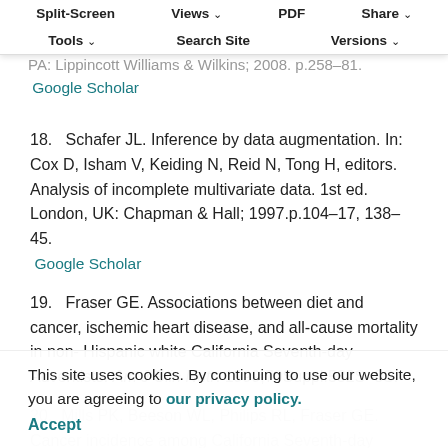stratified analysis. In:Rothman KJ, Green and S, Lash TL, editors. Modern epidemiology. 3rd ed. Philadelphia, PA: Lippincott Williams & Wilkins; 2008. p.258–81. Google Scholar
Split-Screen | Views | PDF | Share | Tools | Search Site | Versions
18.   Schafer JL. Inference by data augmentation. In: Cox D, Isham V, Keiding N, Reid N, Tong H, editors. Analysis of incomplete multivariate data. 1st ed. London, UK: Chapman & Hall; 1997.p.104–17, 138–45.
Google Scholar
19.   Fraser GE. Associations between diet and cancer, ischemic heart disease, and all-cause mortality in non-Hispanic white California Seventh-day Adventists. Am J Clin Nutr. 1999;70Suppl:532S–8S.
This site uses cookies. By continuing to use our website, you are agreeing to our privacy policy.
Accept
20.   Mills PK, Beeson WL, Philips RL, Fraser GE. Cancer incidence among California Seventh-day